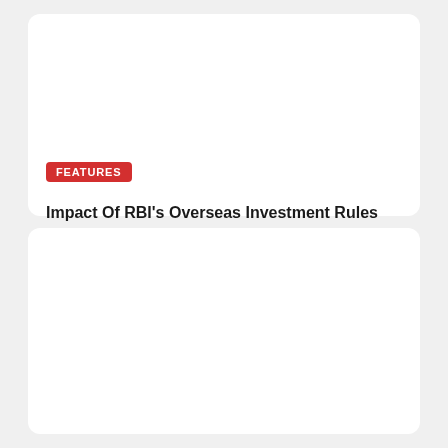FEATURES
Impact Of RBI's Overseas Investment Rules On Indian Investors & S...
Laxitha M.    30th August, 2022